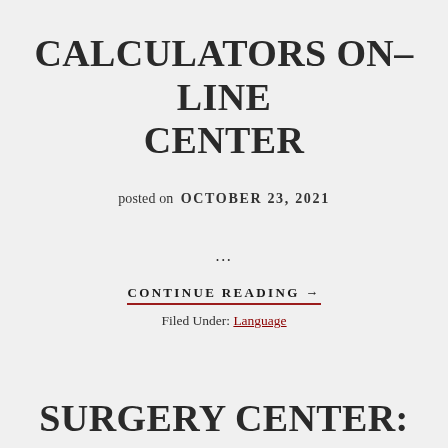CALCULATORS ON–LINE CENTER
posted on  OCTOBER 23, 2021
...
CONTINUE READING →
Filed Under: Language
SURGERY CENTER: